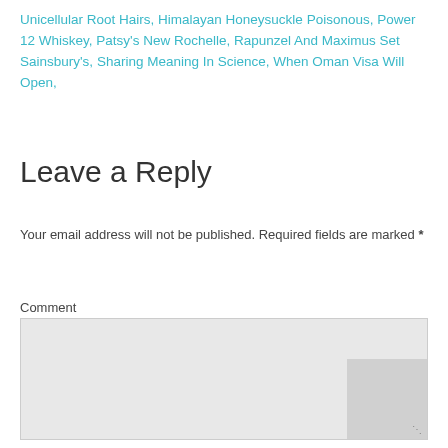Unicellular Root Hairs, Himalayan Honeysuckle Poisonous, Power 12 Whiskey, Patsy's New Rochelle, Rapunzel And Maximus Set Sainsbury's, Sharing Meaning In Science, When Oman Visa Will Open,
Leave a Reply
Your email address will not be published. Required fields are marked *
Comment